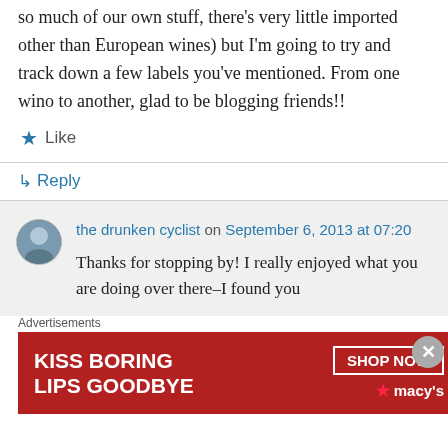so much of our own stuff, there's very little imported other than European wines) but I'm going to try and track down a few labels you've mentioned. From one wino to another, glad to be blogging friends!!
Like
Reply
the drunken cyclist on September 6, 2013 at 07:20
Thanks for stopping by! I really enjoyed what you are doing over there–I found you
Advertisements
[Figure (infographic): Macy's advertisement banner: KISS BORING LIPS GOODBYE, SHOP NOW, macys star logo on red background]